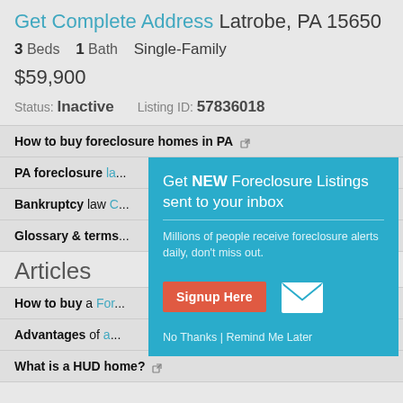Get Complete Address Latrobe, PA 15650
3 Beds  1 Bath  Single-Family
$59,900
Status: Inactive   Listing ID: 57836018
How to buy foreclosure homes in PA
PA foreclosure la...
Bankruptcy law C...
Glossary & terms...
Articles
How to buy a For...
Advantages of a...
What is a HUD home?
[Figure (screenshot): Popup modal overlay with teal background. Title: 'Get NEW Foreclosure Listings sent to your inbox'. Subtext: 'Millions of people receive foreclosure alerts daily, don't miss out.' Contains a red 'Signup Here' button and a white mail envelope icon. Links: 'No Thanks | Remind Me Later'.]